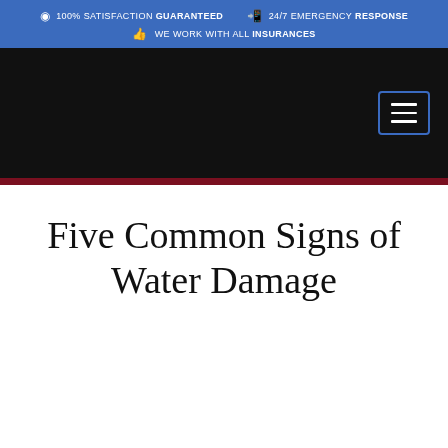100% SATISFACTION GUARANTEED   24/7 EMERGENCY RESPONSE   WE WORK WITH ALL INSURANCES
[Figure (screenshot): Black navigation bar with hamburger menu icon (three horizontal lines) in a blue-bordered box on the right side]
Five Common Signs of Water Damage